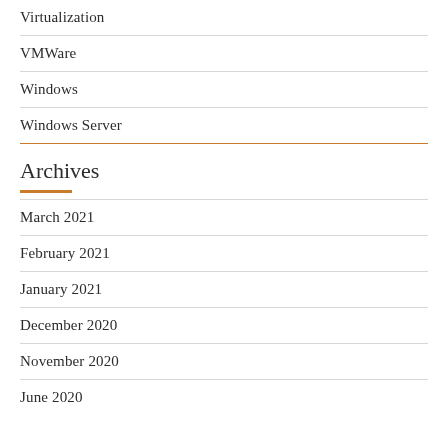Virtualization
VMWare
Windows
Windows Server
Archives
March 2021
February 2021
January 2021
December 2020
November 2020
June 2020